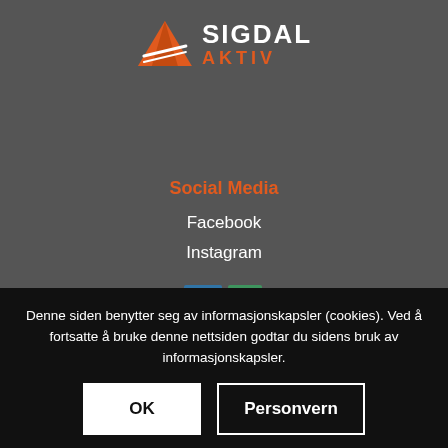[Figure (logo): Sigdal Aktiv logo with orange triangle mountain icon and white/orange text]
Social Media
Facebook
Instagram
[Figure (logo): Visit Sigdal and Norefjell partner logos partially visible]
Denne siden benytter seg av informasjonskapsler (cookies). Ved å fortsatte å bruke denne nettsiden godtar du sidens bruk av informasjonskapsler.
OK
Personvern